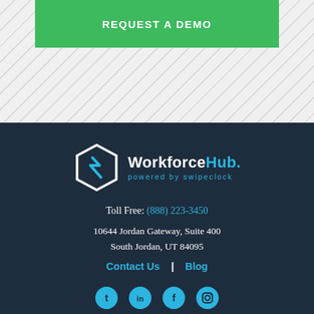[Figure (other): Green button bar with text REQUEST A DEMO on a light gray diagonal-striped background]
[Figure (logo): WorkforceHub logo with hexagon icon and text 'WorkforceHub. powered by swipeclock' on dark navy background]
Toll Free: (888) 223-3450
10644 Jordan Gateway, Suite 400
South Jordan, UT 84095
Contact Us  |  Blog
[Figure (other): Social media icons: Twitter, LinkedIn, Facebook, Instagram on dark navy background]